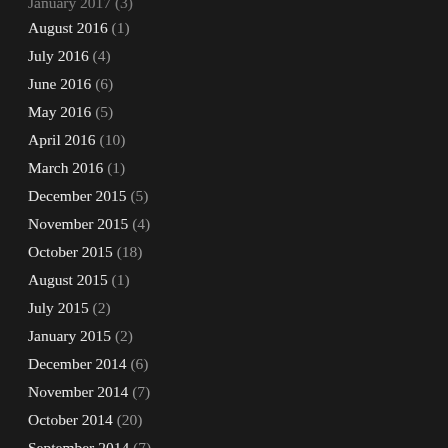January 2017 (3)
August 2016 (1)
July 2016 (4)
June 2016 (6)
May 2016 (5)
April 2016 (10)
March 2016 (1)
December 2015 (5)
November 2015 (4)
October 2015 (18)
August 2015 (1)
July 2015 (2)
January 2015 (2)
December 2014 (6)
November 2014 (7)
October 2014 (20)
September 2014 (7)
August 2014 (16)
July 2014 (17)